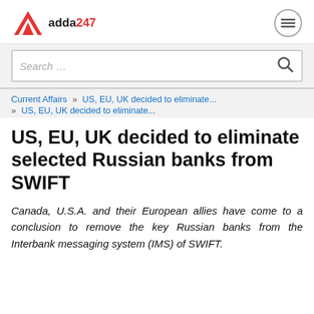adda247
Search ...
Current Affairs » US, EU, UK decided to eliminate... » US, EU, UK decided to eliminate...
US, EU, UK decided to eliminate selected Russian banks from SWIFT
Canada, U.S.A. and their European allies have come to a conclusion to remove the key Russian banks from the Interbank messaging system (IMS) of SWIFT.